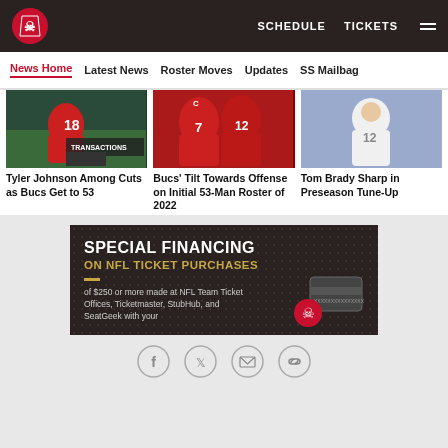Tampa Bay Buccaneers — SCHEDULE  TICKETS
News Home  Latest News  Roster Moves  Updates  SS Mailbag
[Figure (photo): Tyler Johnson #18 Buccaneers wide receiver crouching on field with TRANSACTIONS overlay graphic]
Tyler Johnson Among Cuts as Bucs Get to 53
[Figure (photo): Two Buccaneers players #7 and #12 in red jerseys on field]
Bucs' Tilt Towards Offense on Initial 53-Man Roster of 2022
[Figure (photo): Tom Brady #12 in white Buccaneers jersey smiling]
Tom Brady Sharp in Preseason Tune-Up
[Figure (infographic): Advertisement: SPECIAL FINANCING ON NFL TICKET PURCHASES of $250 or more made at NFL Team Ticket Offices, Ticketmaster, StubHub, and SeatGeek with your card. Dark background with credit card and Buccaneers helmet graphic.]
Social share icons: Facebook, Twitter, Email, Link